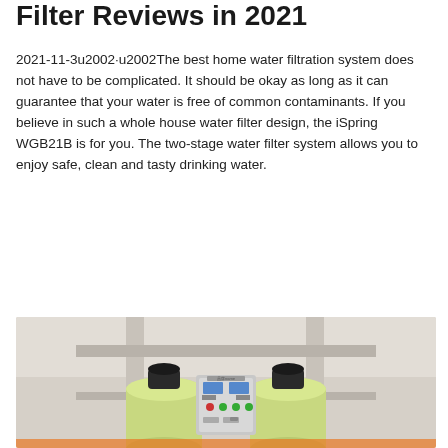Filter Reviews in 2021
2021-11-3u2002·u2002The best home water filtration system does not have to be complicated. It should be okay as long as it can guarantee that your water is free of common contaminants. If you believe in such a whole house water filter design, the iSpring WGB21B is for you. The two-stage water filter system allows you to enjoy safe, clean and tasty drinking water.
Get Price
[Figure (photo): Photo of industrial water filter system with two green cylindrical tanks, a central grey control panel with buttons and indicators, and pipes connecting the components, set indoors against a light-colored wall.]